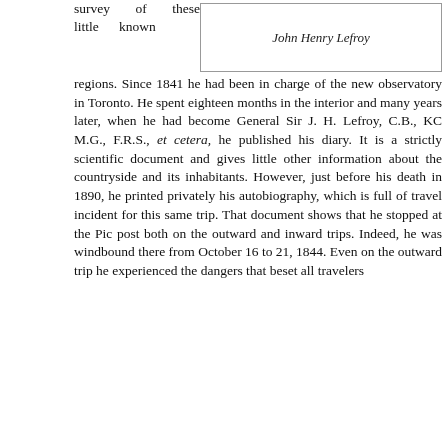survey of these little known
| John Henry Lefroy |
| --- |
regions. Since 1841 he had been in charge of the new observatory in Toronto. He spent eighteen months in the interior and many years later, when he had become General Sir J. H. Lefroy, C.B., KC M.G., F.R.S., et cetera, he published his diary. It is a strictly scientific document and gives little other information about the countryside and its inhabitants. However, just before his death in 1890, he printed privately his autobiography, which is full of travel incident for this same trip. That document shows that he stopped at the Pic post both on the outward and inward trips. Indeed, he was windbound there from October 16 to 21, 1844. Even on the outward trip he experienced the dangers that beset all travelers